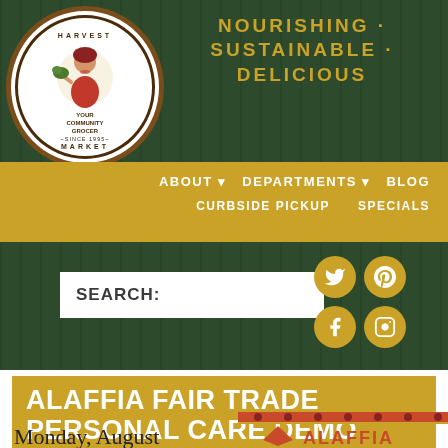[Figure (logo): Harvest Market circular logo with woman figure holding produce, text 'Your Community Grocer Since 1995']
NOURISHING · SUSTAINABLE · DELICIOUS
ABOUT  DEPARTMENTS  BLOG  CURBSIDE PICKUP  SPECIALS
[Figure (screenshot): Search bar with label SEARCH: and social media icons for Twitter, Pinterest, Facebook, Instagram]
ALAFFIA FAIR TRADE PERSONAL CARE DEMO
Monday, August
[Figure (logo): Alaffia brand logo partial view]